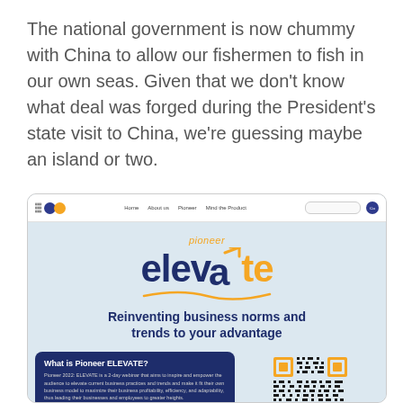The national government is now chummy with China to allow our fishermen to fish in our own seas. Given that we don't know what deal was forged during the President's state visit to China, we're guessing maybe an island or two.
[Figure (screenshot): Screenshot of Pioneer ELEVATE website showing logo, tagline 'Reinventing business norms and trends to your advantage', a dark blue info card about Pioneer ELEVATE 2022 webinar, and a QR code]